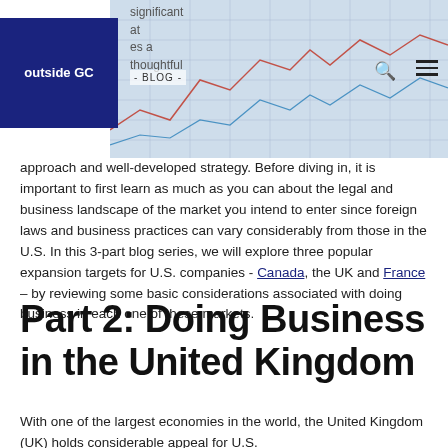outside GC - BLOG -
[Figure (photo): Financial charts and spreadsheet data in background, with outside GC logo in top left, blog navigation label, search and menu icons]
approach and well-developed strategy. Before diving in, it is important to first learn as much as you can about the legal and business landscape of the market you intend to enter since foreign laws and business practices can vary considerably from those in the U.S. In this 3-part blog series, we will explore three popular expansion targets for U.S. companies - Canada, the UK and France – by reviewing some basic considerations associated with doing business in each one of these markets.
Part 2: Doing Business in the United Kingdom
With one of the largest economies in the world, the United Kingdom (UK) holds considerable appeal for U.S.